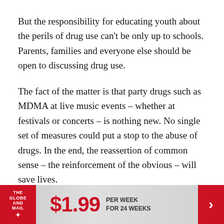But the responsibility for educating youth about the perils of drug use can't be only up to schools. Parents, families and everyone else should be open to discussing drug use.
The fact of the matter is that party drugs such as MDMA at live music events – whether at festivals or concerts – is nothing new. No single set of measures could put a stop to the abuse of drugs. In the end, the reassertion of common sense – the reinforcement of the obvious – will save lives.
THE GLOBE AND MAIL ✦  $1.99  PER WEEK FOR 24 WEEKS  ›